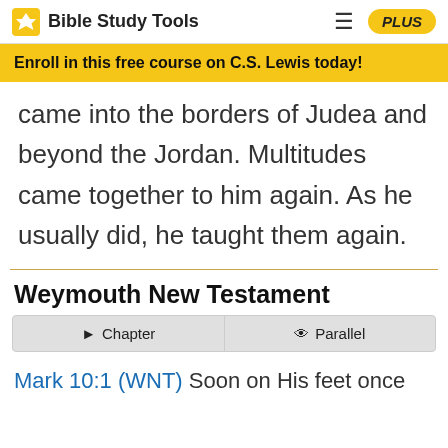Bible Study Tools
Enroll in this free course on C.S. Lewis today!
came into the borders of Judea and beyond the Jordan. Multitudes came together to him again. As he usually did, he taught them again.
Weymouth New Testament
Chapter  |  Parallel
Mark 10:1 (WNT) Soon on His feet once